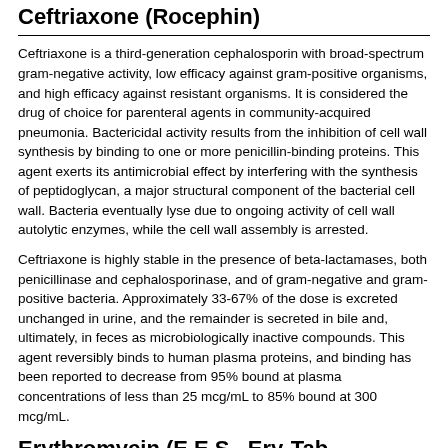Ceftriaxone (Rocephin)
Ceftriaxone is a third-generation cephalosporin with broad-spectrum gram-negative activity, low efficacy against gram-positive organisms, and high efficacy against resistant organisms. It is considered the drug of choice for parenteral agents in community-acquired pneumonia. Bactericidal activity results from the inhibition of cell wall synthesis by binding to one or more penicillin-binding proteins. This agent exerts its antimicrobial effect by interfering with the synthesis of peptidoglycan, a major structural component of the bacterial cell wall. Bacteria eventually lyse due to ongoing activity of cell wall autolytic enzymes, while the cell wall assembly is arrested.
Ceftriaxone is highly stable in the presence of beta-lactamases, both penicillinase and cephalosporinase, and of gram-negative and gram-positive bacteria. Approximately 33-67% of the dose is excreted unchanged in urine, and the remainder is secreted in bile and, ultimately, in feces as microbiologically inactive compounds. This agent reversibly binds to human plasma proteins, and binding has been reported to decrease from 95% bound at plasma concentrations of less than 25 mcg/mL to 85% bound at 300 mcg/mL.
Erythromycin (E.E.S., Ery-Tab, Erythrocin, PCE, EryPed)
Erythromycin covers most potential etiologic agents, including Mycoplasma species. The oral regimen may be insufficient to adequately treat Legionella species, and this agent is less active against H influenzae. Although the standard course of treatment is 10 days, treatment until the patient has been afebrile for 3-5 days seems a more rational approach. Erythromycin therapy